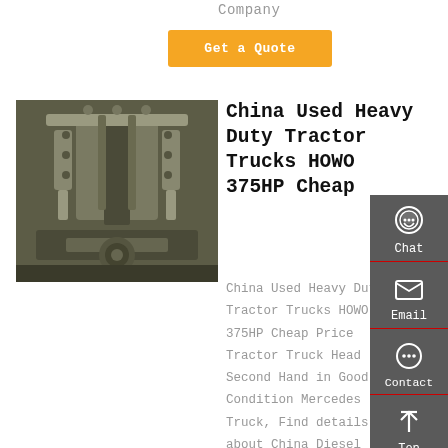Company
Get a Quote
[Figure (photo): Close-up of a heavy duty truck engine, showing V-shaped engine block with metallic components, bolts, and mechanical parts in gray/olive tones]
China Used Heavy Duty Tractor Trucks HOWO 375HP Cheap
China Used Heavy Duty Tractor Trucks HOWO 375HP Cheap Price Tractor Truck Head Second Hand in Good Condition Mercedes Truck, Find details about China Diesel